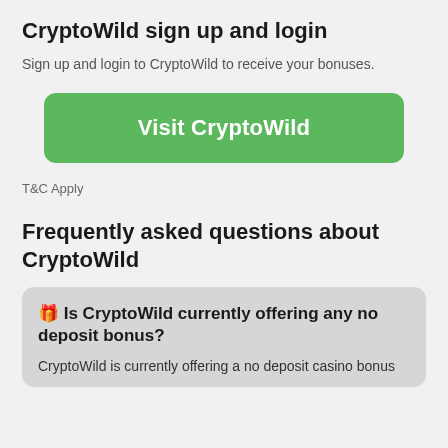CryptoWild sign up and login
Sign up and login to CryptoWild to receive your bonuses.
[Figure (other): Green button labeled 'Visit CryptoWild']
T&C Apply
Frequently asked questions about CryptoWild
🎁 Is CryptoWild currently offering any no deposit bonus?
CryptoWild is currently offering a no deposit casino bonus